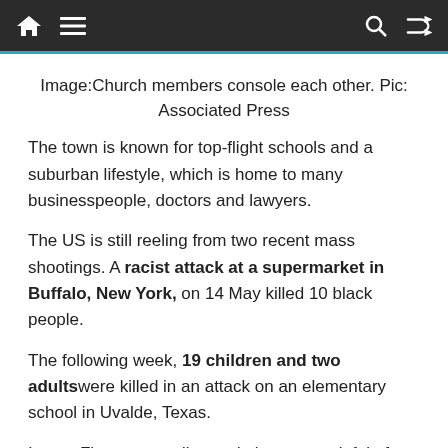Navigation bar with home, menu, search, and shuffle icons
Image:Church members console each other. Pic: Associated Press
The town is known for top-flight schools and a suburban lifestyle, which is home to many businesspeople, doctors and lawyers.
The US is still reeling from two recent mass shootings. A racist attack at a supermarket in Buffalo, New York, on 14 May killed 10 black people.
The following week, 19 children and two adults were killed in an attack on an elementary school in Uvalde, Texas.
Image:Flowers, candles and pictures are left in front of crosses with the names of victims after the Robb